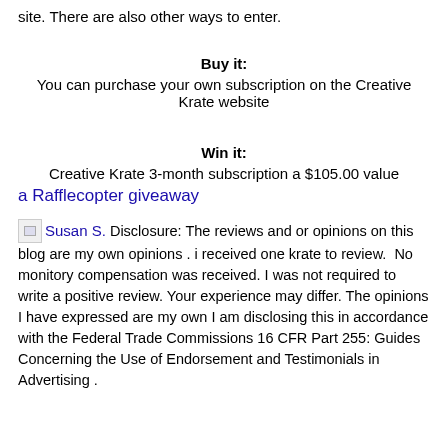site. There are also other ways to enter.
Buy it:
You can purchase your own subscription on the Creative Krate website
Win it:
Creative Krate 3-month subscription a $105.00 value
a Rafflecopter giveaway
Susan S. Disclosure: The reviews and or opinions on this blog are my own opinions . i received one krate to review.  No monitory compensation was received. I was not required to write a positive review. Your experience may differ. The opinions I have expressed are my own I am disclosing this in accordance with the Federal Trade Commissions 16 CFR Part 255: Guides Concerning the Use of Endorsement and Testimonials in Advertising .